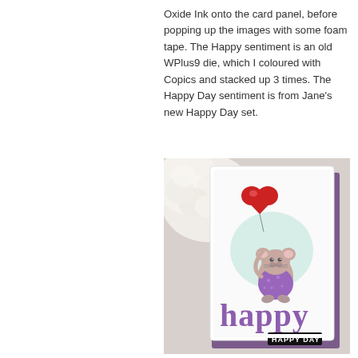Oxide Ink onto the card panel, before popping up the images with some foam tape. The Happy sentiment is an old WPlus9 die, which I coloured with Copics and stacked up 3 times. The Happy Day sentiment is from Jane's new Happy Day set.
[Figure (photo): A handmade greeting card featuring a cartoon mouse holding a red heart-shaped balloon, wearing a purple polka-dot shirt. The card has large purple 'happy' die-cut letters and a small black banner reading 'HAPPY DAY'. The card is propped against a purple envelope, surrounded by white roses on a white surface.]